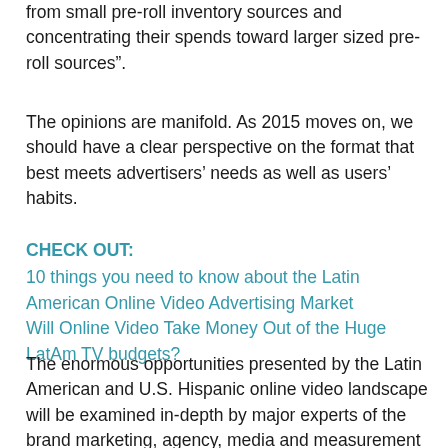from small pre-roll inventory sources and concentrating their spends toward larger sized pre-roll sources”.
The opinions are manifold. As 2015 moves on, we should have a clear perspective on the format that best meets advertisers’ needs as well as users’ habits.
CHECK OUT:
10 things you need to know about the Latin American Online Video Advertising Market
Will Online Video Take Money Out of the Huge LatAm TV budgets?
The enormous opportunities presented by the Latin American and U.S. Hispanic online video landscape will be examined in-depth by major experts of the brand marketing, agency, media and measurement world at Portada’s Latin Online Video Forum on June 3 in Miami.